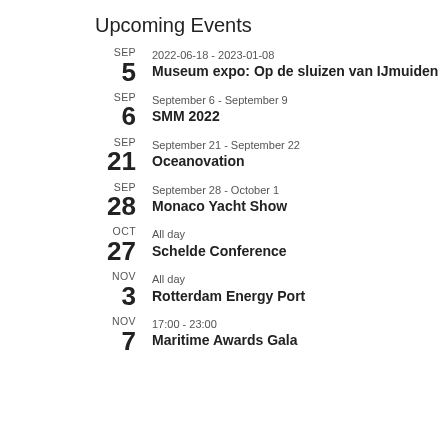Upcoming Events
SEP 5 | 2022-06-18 - 2023-01-08 | Museum expo: Op de sluizen van IJmuiden
SEP 6 | September 6 - September 9 | SMM 2022
SEP 21 | September 21 - September 22 | Oceanovation
SEP 28 | September 28 - October 1 | Monaco Yacht Show
OCT 27 | All day | Schelde Conference
NOV 3 | All day | Rotterdam Energy Port
NOV 7 | 17:00 - 23:00 | Maritime Awards Gala